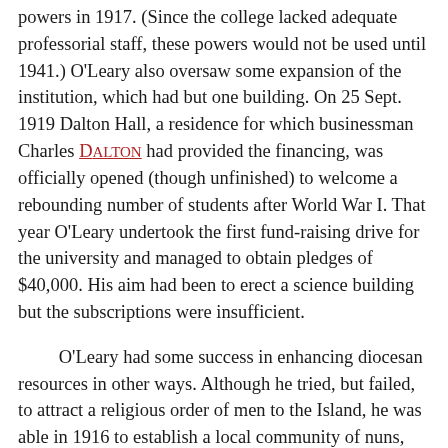powers in 1917. (Since the college lacked adequate professorial staff, these powers would not be used until 1941.) O'Leary also oversaw some expansion of the institution, which had but one building. On 25 Sept. 1919 Dalton Hall, a residence for which businessman Charles DALTON had provided the financing, was officially opened (though unfinished) to welcome a rebounding number of students after World War I. That year O'Leary undertook the first fund-raising drive for the university and managed to obtain pledges of $40,000. His aim had been to erect a science building but the subscriptions were insufficient.
O'Leary had some success in enhancing diocesan resources in other ways. Although he tried, but failed, to attract a religious order of men to the Island, he was able in 1916 to establish a local community of nuns, the Sisters of St Martha, initially intended for domestic service at both the college and his residence. That the Island – “this soil so fertile in vocation” – was forced to import nuns for diocesan work was, he thought, “a great pity.” His achievement was largely thanks to Mother Mary Stanislaus [Mary